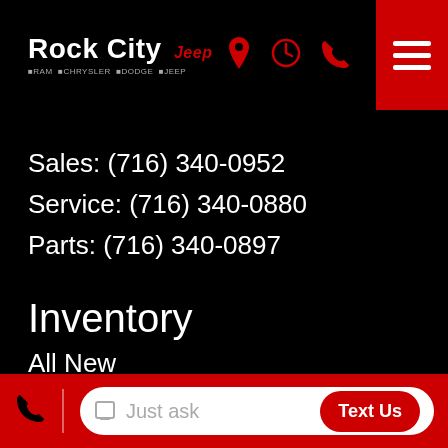Rock City Jeep
Sales: (716) 340-0952
Service: (716) 340-0880
Parts: (716) 340-0897
Inventory
All New
Chrysler
Dodge
Jeep
RAM
Certified Pre-Owned
Just ask  Text Us